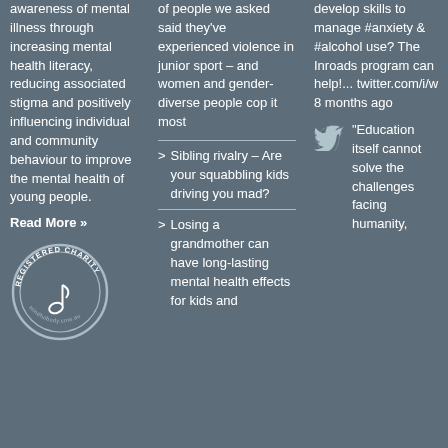awareness of mental illness through increasing mental health literacy, reducing associated stigma and positively influencing individual and community behaviour to improve the mental health of young people.
Read More »
[Figure (logo): Registered Charity circular badge with a music note]
of people we asked said they've experienced violence in junior sport – and women and gender-diverse people cop it most
Sibling rivalry – Are your squabbling kids driving you mad?
Losing a grandmother can have long-lasting mental health effects for kids and
develop skills to manage #anxiety & #alcohol use? The Inroads program can help!... twitter.com/i/w 8 months ago
"Education itself cannot solve the challenges facing humanity,